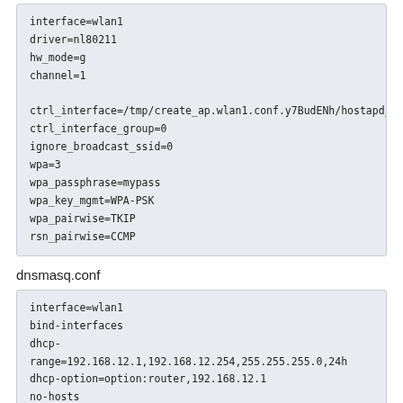interface=wlan1
driver=nl80211
hw_mode=g
channel=1

ctrl_interface=/tmp/create_ap.wlan1.conf.y7BudENh/hostapd_ct
ctrl_interface_group=0
ignore_broadcast_ssid=0
wpa=3
wpa_passphrase=mypass
wpa_key_mgmt=WPA-PSK
wpa_pairwise=TKIP
rsn_pairwise=CCMP
dnsmasq.conf
interface=wlan1
bind-interfaces
dhcp-range=192.168.12.1,192.168.12.254,255.255.255.0,24h
dhcp-option=option:router,192.168.12.1
no-hosts
I also tried other ways to nat the internet, but it doesn't work as well.